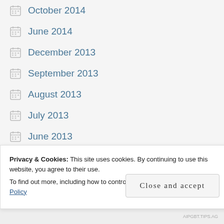October 2014
June 2014
December 2013
September 2013
August 2013
July 2013
June 2013
May 2013
March 2013
January 2013
Privacy & Cookies: This site uses cookies. By continuing to use this website, you agree to their use.
To find out more, including how to control cookies, see here: Cookie Policy
Close and accept